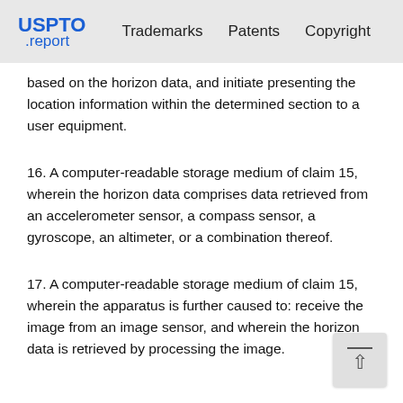USPTO .report   Trademarks   Patents   Copyright
based on the horizon data, and initiate presenting the location information within the determined section to a user equipment.
16. A computer-readable storage medium of claim 15, wherein the horizon data comprises data retrieved from an accelerometer sensor, a compass sensor, a gyroscope, an altimeter, or a combination thereof.
17. A computer-readable storage medium of claim 15, wherein the apparatus is further caused to: receive the image from an image sensor, and wherein the horizon data is retrieved by processing the image.